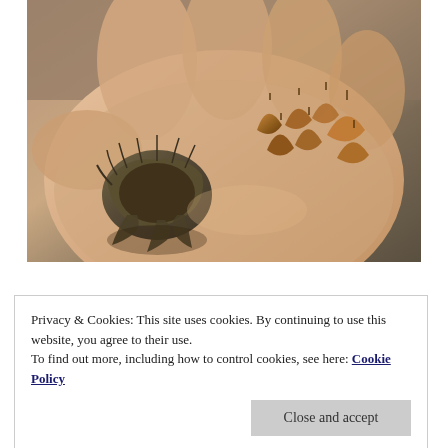[Figure (photo): A hand holding an open beech mast husk with multiple small brown triangular beech nuts resting in the palm]
season, and mushrooms still holding strong although I